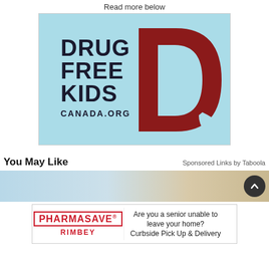Read more below
[Figure (logo): Drug Free Kids Canada.org logo — light blue background with bold dark text 'DRUG FREE KIDS' and 'CANADA.ORG', alongside a large dark red letter D with a notch at bottom right]
You May Like
Sponsored Links by Taboola
[Figure (photo): Partial photo showing blurred blue and light background, likely a person with blonde hair]
[Figure (logo): Pharmasave Rimbey advertisement: logo with red border text 'PHARMASAVE' and 'RIMBEY' in red, with text 'Are you a senior unable to leave your home? Curbside Pick Up & Delivery']